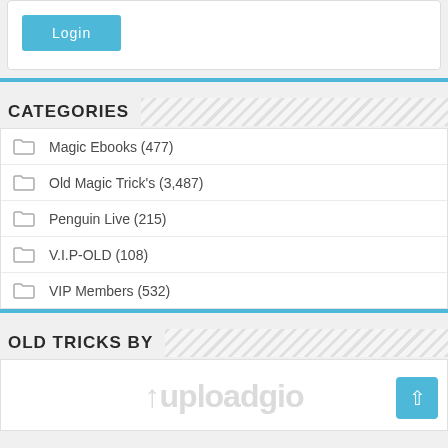[Figure (screenshot): Login button (teal/blue) inside a white card with border]
CATEGORIES
Magic Ebooks (477)
Old Magic Trick's (3,487)
Penguin Live (215)
V.I.P-OLD (108)
VIP Members (532)
OLD TRICKS BY
[Figure (logo): Uploadgio logo in light gray]
[Figure (other): Back to top button (teal arrow up)]